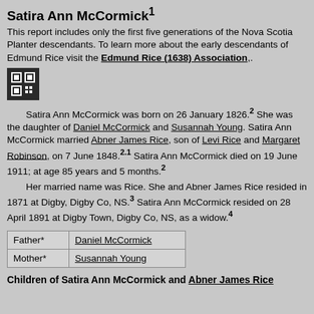Satira Ann McCormick¹
This report includes only the first five generations of the Nova Scotia Planter descendants. To learn more about the early descendants of Edmund Rice visit the Edmund Rice (1638) Association,.
[Figure (other): QR code icon in dark box]
Satira Ann McCormick was born on 26 January 1826.² She was the daughter of Daniel McCormick and Susannah Young. Satira Ann McCormick married Abner James Rice, son of Levi Rice and Margaret Robinson, on 7 June 1848.²˙¹ Satira Ann McCormick died on 19 June 1911; at age 85 years and 5 months.²
 Her married name was Rice. She and Abner James Rice resided in 1871 at Digby, Digby Co, NS.³ Satira Ann McCormick resided on 28 April 1891 at Digby Town, Digby Co, NS, as a widow.⁴
| Father* | Daniel McCormick |
| Mother* | Susannah Young |
Children of Satira Ann McCormick and Abner James Rice